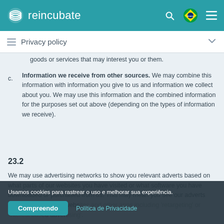reincubate
Privacy policy
goods or services that may interest you or them.
c. Information we receive from other sources. We may combine this information with information you give to us and information we collect about you. We may use this information and the combined information for the purposes set out above (depending on the types of information we receive).
23.2
We may use advertising networks to show you relevant adverts based on what parts of our websites you have visited or what software you have downloaded or purchased from us. This may mean you see our adverts when you visit other websites and other apps including 'retargeting' or 'interest based advertising'.
Usamos cookies para rastrear o uso e melhorar sua experiência.